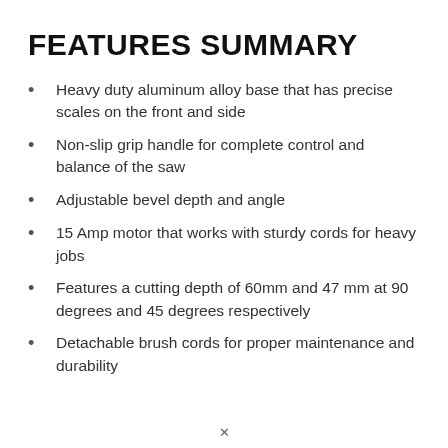FEATURES SUMMARY
Heavy duty aluminum alloy base that has precise scales on the front and side
Non-slip grip handle for complete control and balance of the saw
Adjustable bevel depth and angle
15 Amp motor that works with sturdy cords for heavy jobs
Features a cutting depth of 60mm and 47 mm at 90 degrees and 45 degrees respectively
Detachable brush cords for proper maintenance and durability